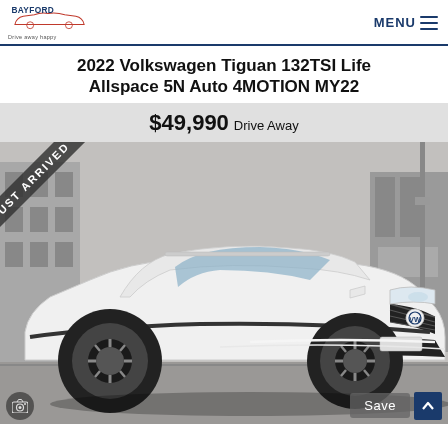BAYFORD | Drive away happy | MENU
2022 Volkswagen Tiguan 132TSI Life Allspace 5N Auto 4MOTION MY22
$49,990 Drive Away
[Figure (photo): White 2022 Volkswagen Tiguan 132TSI Life Allspace SUV parked, three-quarter front view, with a 'JUST ARRIVED' diagonal banner overlay in the top-left corner. Bottom bar shows camera icon, Save button, and scroll-to-top arrow.]